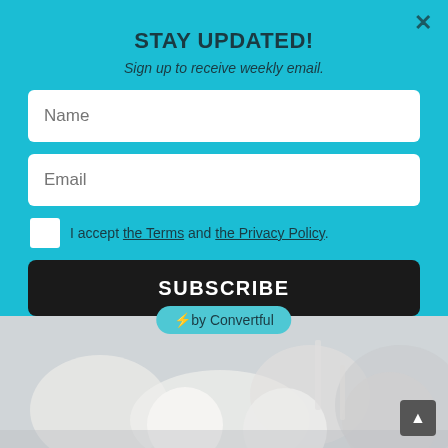[Figure (photo): Background photo showing blurred white objects/baby items on a light background]
STAY UPDATED!
Sign up to receive weekly email.
Name (input field placeholder)
Email (input field placeholder)
I accept the Terms and the Privacy Policy.
SUBSCRIBE
⚡by Convertful